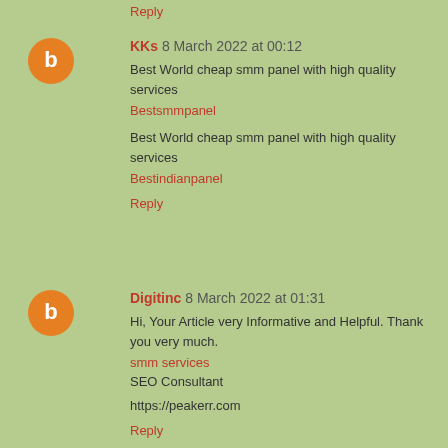Reply
KKs  8 March 2022 at 00:12
Best World cheap smm panel with high quality services
Bestsmmpanel
Best World cheap smm panel with high quality services
Bestindianpanel
Reply
Digitinc  8 March 2022 at 01:31
Hi, Your Article very Informative and Helpful. Thank you very much.
smm services
SEO Consultant
https://peakerr.com
Reply